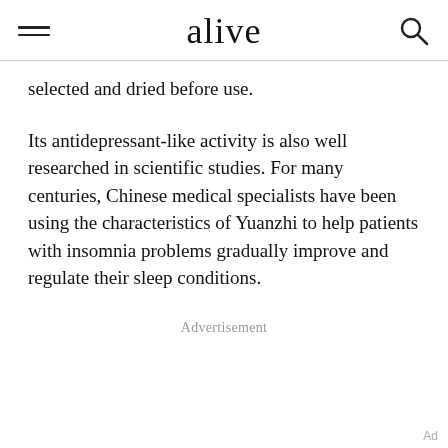alive
selected and dried before use.
Its antidepressant-like activity is also well researched in scientific studies. For many centuries, Chinese medical specialists have been using the characteristics of Yuanzhi to help patients with insomnia problems gradually improve and regulate their sleep conditions.
Advertisement
Ad